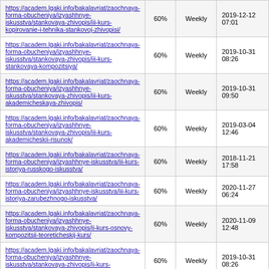| URL | Priority | Frequency | Last Modified |
| --- | --- | --- | --- |
| https://academ.lgaki.info/bakalavriat/zaochnaya-forma-obucheniya/izyashhnye-iskusstva/stankovaya-zhivopis/iii-kurs-kopirovanie-i-tehnika-stankovoj-zhivopisi/ | 60% | Weekly | 2019-12-12 07:01 |
| https://academ.lgaki.info/bakalavriat/zaochnaya-forma-obucheniya/izyashhnye-iskusstva/stankovaya-zhivopis/iii-kurs-stankovaya-kompozitsiya/ | 60% | Weekly | 2019-10-31 08:26 |
| https://academ.lgaki.info/bakalavriat/zaochnaya-forma-obucheniya/izyashhnye-iskusstva/stankovaya-zhivopis/iii-kurs-akademicheskaya-zhivopis/ | 60% | Weekly | 2019-10-31 09:50 |
| https://academ.lgaki.info/bakalavriat/zaochnaya-forma-obucheniya/izyashhnye-iskusstva/stankovaya-zhivopis/iii-kurs-akademicheskii-risunok/ | 60% | Weekly | 2019-03-04 12:46 |
| https://academ.lgaki.info/bakalavriat/zaochnaya-forma-obucheniya/izyashhnye-iskusstva/iii-kurs-istoriya-russkogo-iskusstva/ | 60% | Weekly | 2018-11-21 17:58 |
| https://academ.lgaki.info/bakalavriat/zaochnaya-forma-obucheniya/izyashhnye-iskusstva/iii-kurs-istoriya-zarubezhnogo-iskusstva/ | 60% | Weekly | 2020-11-27 06:24 |
| https://academ.lgaki.info/bakalavriat/zaochnaya-forma-obucheniya/izyashhnye-iskusstva/stankovaya-zhivopis/ii-kurs-osnovy-kompozitsii-teoreticheskij-kurs/ | 60% | Weekly | 2020-11-09 12:48 |
| https://academ.lgaki.info/bakalavriat/zaochnaya-forma-obucheniya/izyashhnye-iskusstva/stankovaya-zhivopis/ii-kurs-stankovaya-kompozitsiya/ | 60% | Weekly | 2019-10-31 08:26 |